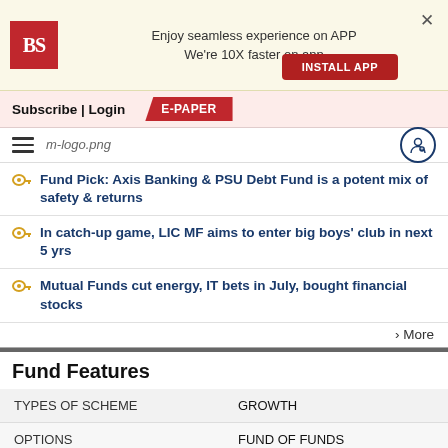[Figure (screenshot): App install banner with Business Standard BS logo, text 'Enjoy seamless experience on APP We're 10X faster on app', X close button, and INSTALL APP red button]
Subscribe | Login  E-PAPER
[Figure (logo): m-logo.png mobile site logo and hamburger menu with user icon]
Fund Pick: Axis Banking & PSU Debt Fund is a potent mix of safety & returns
In catch-up game, LIC MF aims to enter big boys' club in next 5 yrs
Mutual Funds cut energy, IT bets in July, bought financial stocks
> More
Fund Features
|  |  |
| --- | --- |
| TYPES OF SCHEME | GROWTH |
| OPTIONS | FUND OF FUNDS |
| ASSETS SIZE (RS IN CR) | 233.09 (28 FEB 21) |